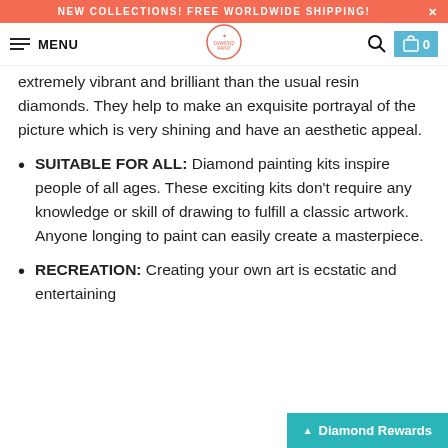NEW COLLECTIONS! FREE WORLDWIDE SHIPPING!
extremely vibrant and brilliant than the usual resin diamonds. They help to make an exquisite portrayal of the picture which is very shining and have an aesthetic appeal.
SUITABLE FOR ALL: Diamond painting kits inspire people of all ages. These exciting kits don't require any knowledge or skill of drawing to fulfill a classic artwork. Anyone longing to paint can easily create a masterpiece.
RECREATION: Creating your own art is ecstatic and entertaining